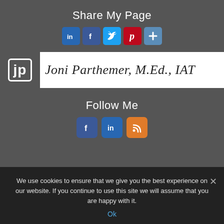Share My Page
[Figure (other): Row of social sharing icon buttons: LinkedIn (blue), Facebook (dark blue), Twitter (light blue), Pinterest (red), Plus (steel blue)]
[Figure (logo): Logo showing jp in a rounded rectangle box beside the handwritten signature 'Joni Parthemer, M.Ed., IAT' on white background]
Follow Me
[Figure (other): Row of three follow icon buttons: Facebook (blue), LinkedIn (blue), RSS feed (orange)]
We use cookies to ensure that we give you the best experience on our website. If you continue to use this site we will assume that you are happy with it.
Ok